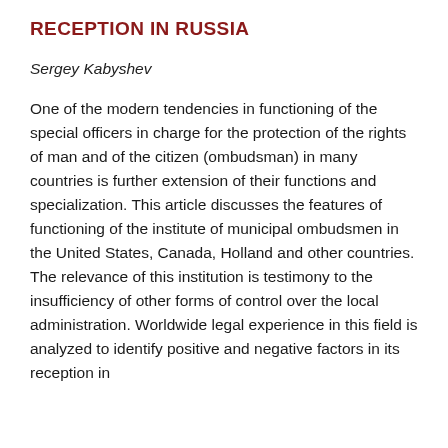RECEPTION IN RUSSIA
Sergey Kabyshev
One of the modern tendencies in functioning of the special officers in charge for the protection of the rights of man and of the citizen (ombudsman) in many countries is further extension of their functions and specialization. This article discusses the features of functioning of the institute of municipal ombudsmen in the United States, Canada, Holland and other countries. The relevance of this institution is testimony to the insufficiency of other forms of control over the local administration. Worldwide legal experience in this field is analyzed to identify positive and negative factors in its reception in